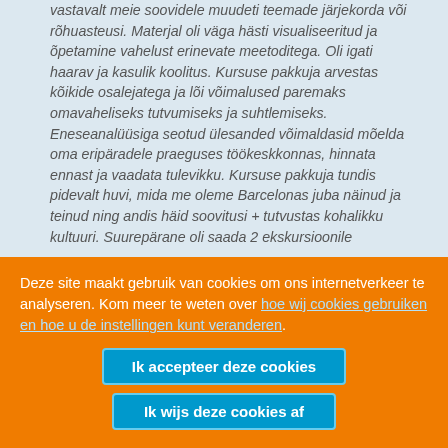vastavalt meie soovidele muudeti teemade järjekorda või rõhuasteusi. Materjal oli väga hästi visualiseeritud ja õpetamine vahelust erinevate meetoditega. Oli igati haarav ja kasulik koolitus. Kursuse pakkuja arvestas kõikide osalejatega ja lõi võimalused paremaks omavaheliseks tutvumiseks ja suhtlemiseks. Eneseanalüüsiga seotud ülesanded võimaldasid mõelda oma eripäradele praeguses töökeskkonnas, hinnata ennast ja vaadata tulevikku. Kursuse pakkuja tundis pidevalt huvi, mida me oleme Barcelonas juba näinud ja teinud ning andis häid soovitusi + tutvustas kohalikku kultuuri. Suurepärane oli saada 2 ekskursioonile
Deze site maakt gebruik van cookies om ons internetverkeer te analyseren. Kom meer te weten over hoe wij cookies gebruiken en hoe u de instellingen kunt veranderen.